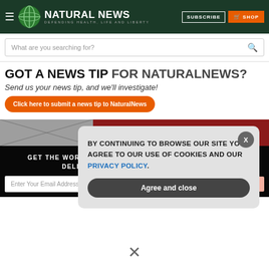NATURAL NEWS — DEFENDING HEALTH, LIFE AND LIBERTY | SUBSCRIBE | SHOP
What are you searching for?
GOT A NEWS TIP FOR NATURALNEWS?
Send us your news tip, and we'll investigate!
Click here to submit a news tip to NaturalNews
DOWLOAD NOW
GET THE WORLD'S BEST NATURAL HEALTH NEWSLETTER DELIVERED STRAIGHT TO YOUR INBOX
Enter Your Email Address
SUBSCRIBE
BY CONTINUING TO BROWSE OUR SITE YOU AGREE TO OUR USE OF COOKIES AND OUR PRIVACY POLICY.
Agree and close